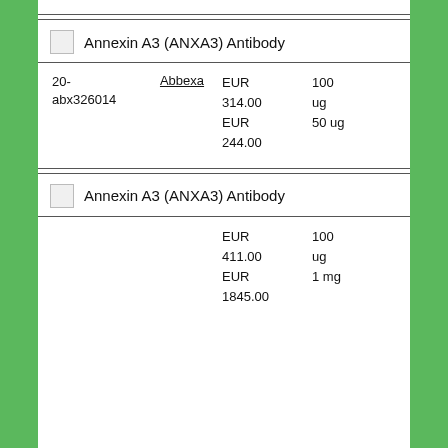Annexin A3 (ANXA3) Antibody
| ID | Supplier | Price | Size |
| --- | --- | --- | --- |
| 20-abx326014 | Abbexa | EUR 314.00
EUR 244.00 | 100 ug
50 ug |
Annexin A3 (ANXA3) Antibody
| ID | Supplier | Price | Size |
| --- | --- | --- | --- |
|  |  | EUR 411.00
EUR 1845.00 | 100 ug
1 mg |